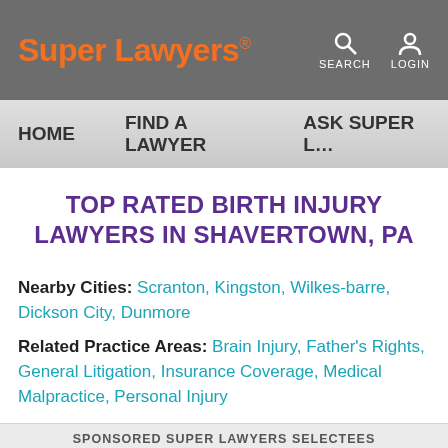Super Lawyers® | SEARCH | LOGIN | HOME | FIND A LAWYER | ASK SUPER L…
TOP RATED BIRTH INJURY LAWYERS IN SHAVERTOWN, PA
Nearby Cities: Scranton, Kingston, Wilkes-barre, Dickson City, Dunmore
Related Practice Areas: Brain Injury, Father's Rights, General Litigation, Insurance Coverage, Medical Malpractice, Personal Injury
SPONSORED SUPER LAWYERS SELECTEES
Michael D…